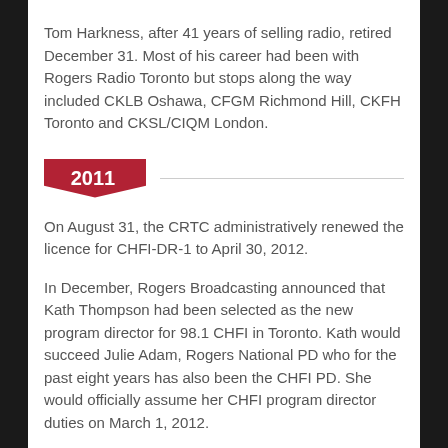Tom Harkness, after 41 years of selling radio, retired December 31. Most of his career had been with Rogers Radio Toronto but stops along the way included CKLB Oshawa, CFGM Richmond Hill, CKFH Toronto and CKSL/CIQM London.
2011
On August 31, the CRTC administratively renewed the licence for CHFI-DR-1 to April 30, 2012.
In December, Rogers Broadcasting announced that Kath Thompson had been selected as the new program director for 98.1 CHFI in Toronto. Kath would succeed Julie Adam, Rogers National PD who for the past eight years has also been the CHFI PD. She would officially assume her CHFI program director duties on March 1, 2012.
Ron Combden, regional engineering manager for Rogers Broadcasting in the Toronto/ Kitchener markets, was no longer with the company. Rick Dal Farra, who had been